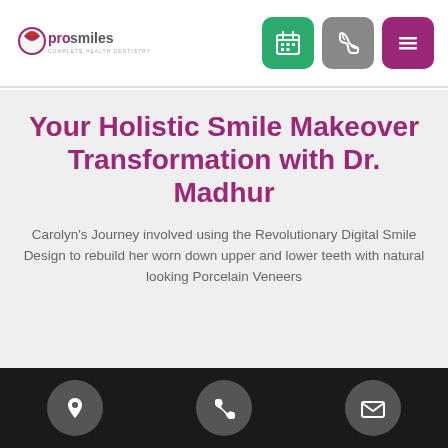[Figure (logo): prosmiles complete health dentistry logo with red/pink swoosh icon]
[Figure (infographic): Navigation header icons: green calendar button, gray phone button, purple hamburger menu button]
Your Holistic Smile Makeover Transformation with Dr. Madhur
Carolyn's Journey involved using the Revolutionary Digital Smile Design to rebuild her worn down upper and lower teeth with natural looking Porcelain Veneers
Footer icons: location pin, phone, envelope on black background